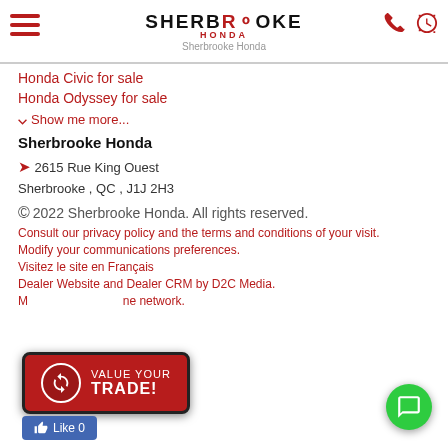Sherbrooke Honda
Honda Civic for sale
Honda Odyssey for sale
Show me more...
Sherbrooke Honda
2615 Rue King Ouest
Sherbrooke , QC , J1J 2H3
© 2022 Sherbrooke Honda. All rights reserved.
Consult our privacy policy and the terms and conditions of your visit.
Modify your communications preferences.
Visitez le site en Français
Dealer Website and Dealer CRM by D2C Media.
Member of the ... ne network.
[Figure (other): VALUE YOUR TRADE! button overlay]
[Figure (other): Green chat button]
[Figure (other): Facebook Like 0 button]